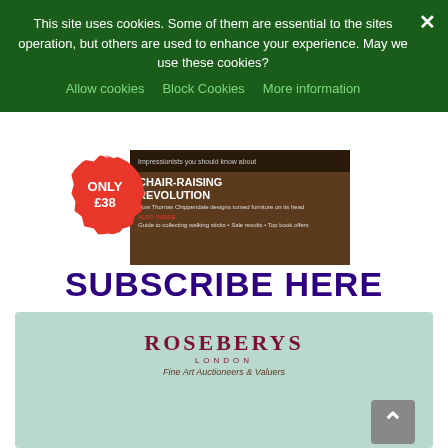This site uses cookies. Some of them are essential to the sites operation, but others are used to enhance your experience. May we use these cookies?
Allow cookies | Block Cookies | More information
[Figure (illustration): Magazine advertisement showing a magazine cover with 'CHAIR-RAISING REVOLUTION' text and 'ONLY £38' red badge, with 'SUBSCRIBE HERE' text below in bold purple]
[Figure (logo): Roseberys London Fine Art Auctioneers & Valuers logo on a mint green background]